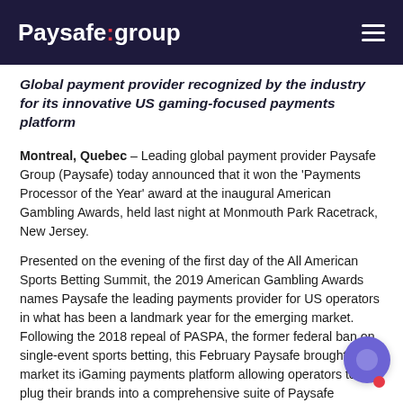Paysafe:group
Global payment provider recognized by the industry for its innovative US gaming-focused payments platform
Montreal, Quebec – Leading global payment provider Paysafe Group (Paysafe) today announced that it won the 'Payments Processor of the Year' award at the inaugural American Gambling Awards, held last night at Monmouth Park Racetrack, New Jersey.
Presented on the evening of the first day of the All American Sports Betting Summit, the 2019 American Gambling Awards names Paysafe the leading payments provider for US operators in what has been a landmark year for the emerging market. Following the 2018 repeal of PASPA, the former federal ban on single-event sports betting, this February Paysafe brought to market its iGaming payments platform allowing operators to plug their brands into a comprehensive suite of Paysafe payments products through one single point of integration.